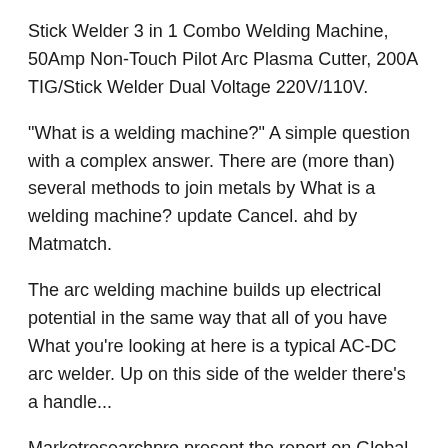Stick Welder 3 in 1 Combo Welding Machine, 50Amp Non-Touch Pilot Arc Plasma Cutter, 200A TIG/Stick Welder Dual Voltage 220V/110V.
"What is a welding machine?" A simple question with a complex answer. There are (more than) several methods to join metals by What is a welding machine? update Cancel. ahd by Matmatch.
The arc welding machine builds up electrical potential in the same way that all of you have What you're looking at here is a typical AC-DC arc welder. Up on this side of the welder there's a handle...
Marketresearchpro present the report on Global Friction Welding Machine Consumption Market evaluates the growth trends of the ...